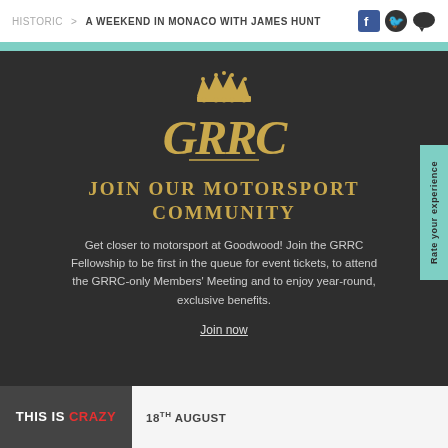HISTORIC > A WEEKEND IN MONACO WITH JAMES HUNT
[Figure (logo): GRRC gold monogram logo with crown, ornate lettering on dark background]
JOIN OUR MOTORSPORT COMMUNITY
Get closer to motorsport at Goodwood! Join the GRRC Fellowship to be first in the queue for event tickets, to attend the GRRC-only Members' Meeting and to enjoy year-round, exclusive benefits.
Join now
[Figure (screenshot): Bottom strip showing THIS IS CRAZY thumbnail and 18th AUGUST text]